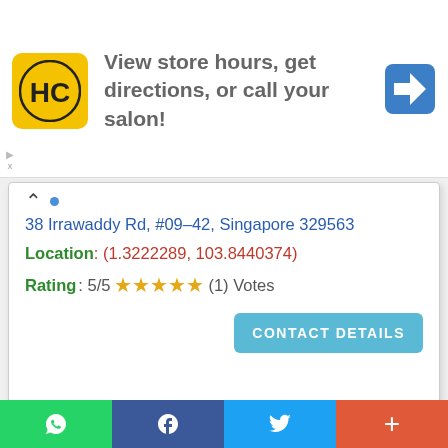[Figure (screenshot): Advertisement banner showing HC (Hair Club) logo with text 'View store hours, get directions, or call your salon!' and a blue navigation arrow icon]
38 Irrawaddy Rd, #09-42, Singapore 329563
Location: (1.3222289, 103.8440374)
Rating: 5/5 ★★★★★ (1) Votes
[Figure (screenshot): CONTACT DETAILS button in teal/light blue color]
[Figure (map): Google Maps screenshot showing area around 38 Irrawaddy Rd Singapore, showing Masjid Al-Taqua, Bedok Food Centre, East Farm, Kew Ave, Kew Dr, Kew Cres, Upper E Coast Rd, Jln Limau, Eunos/Kembangan area]
[Figure (screenshot): Social sharing bar with WhatsApp (green), Facebook (dark blue), Twitter (light blue), and plus/more (red-orange) buttons]